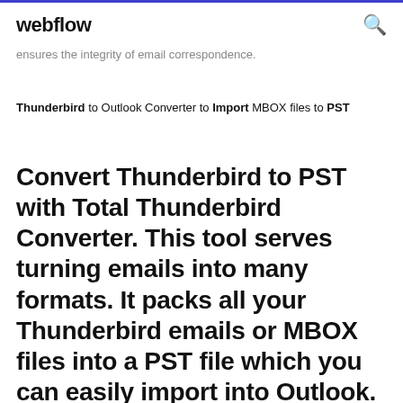webflow
ensures the integrity of email correspondence.
Thunderbird to Outlook Converter to Import MBOX files to PST
Convert Thunderbird to PST with Total Thunderbird Converter. This tool serves turning emails into many formats. It packs all your Thunderbird emails or MBOX files into a PST file which you can easily import into Outlook. Thanks to batch function, you can convert Thunderbird to PST in large